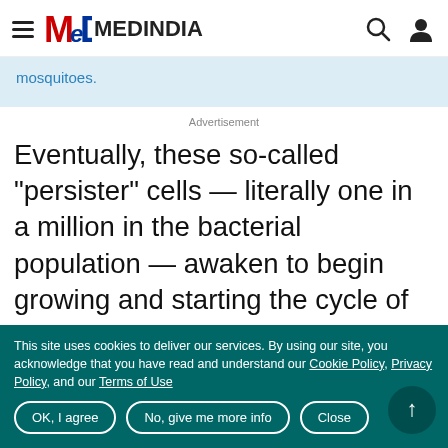MedinDia - MEDINDIA
mosquitoes.
Advertisement
Eventually, these so-called "persister" cells — literally one in a million in the bacterial population — awaken to begin growing and starting the cycle of infection all over again."It's a very clever thing for them to do, and it's one of the underlying reasons there
This site uses cookies to deliver our services. By using our site, you acknowledge that you have read and understand our Cookie Policy, Privacy Policy, and our Terms of Use